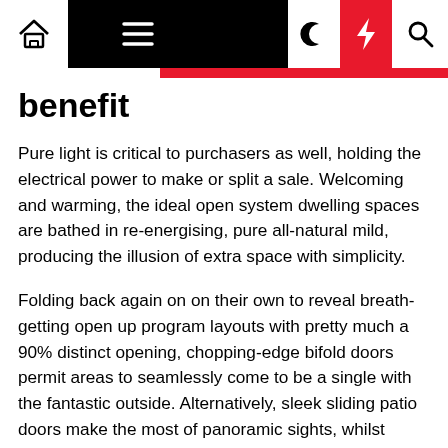[Navigation bar with home, menu, moon, bolt, search icons]
benefit
Pure light is critical to purchasers as well, holding the electrical power to make or split a sale. Welcoming and warming, the ideal open system dwelling spaces are bathed in re-energising, pure all-natural mild, producing the illusion of extra space with simplicity.
Folding back again on on their own to reveal breath-getting open up program layouts with pretty much a 90% distinct opening, chopping-edge bifold doors permit areas to seamlessly come to be a single with the fantastic outside. Alternatively, sleek sliding patio doors make the most of panoramic sights, whilst offering effortless accessibility to backyard garden and patio areas. They can even be